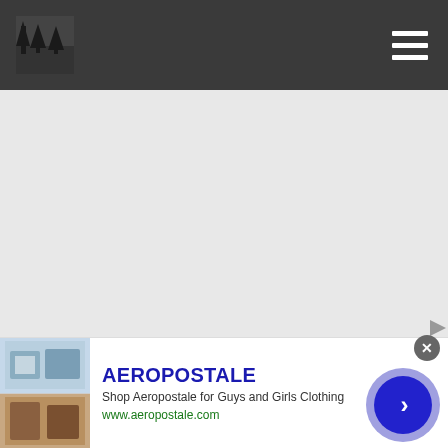Navigation bar with logo and hamburger menu
[Figure (other): Gray advertisement placeholder area]
ezoic   report this ad
Who We Are:
[Figure (other): Aeropostale advertisement banner: AEROPOSTALE - Shop Aeropostale for Guys and Girls Clothing - www.aeropostale.com]